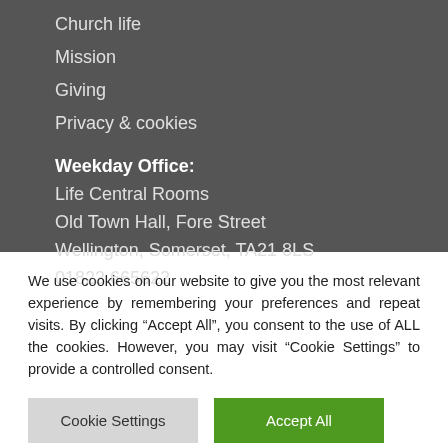Church life
Mission
Giving
Privacy & cookies
Weekday Office:
Life Central Rooms
Old Town Hall, Fore Street
Wellington, Somerset, TA21 8LS
01823 665622
We use cookies on our website to give you the most relevant experience by remembering your preferences and repeat visits. By clicking “Accept All”, you consent to the use of ALL the cookies. However, you may visit "Cookie Settings" to provide a controlled consent.
Cookie Settings
Accept All